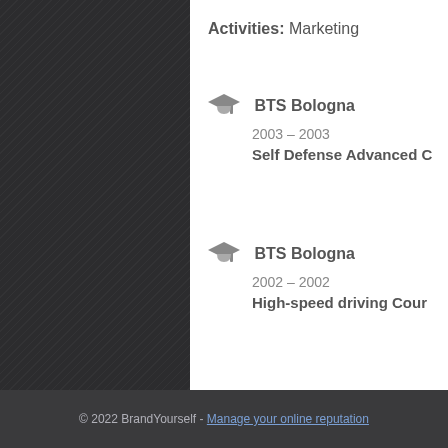Activities: Marketing
BTS Bologna
2003 – 2003
Self Defense Advanced C
BTS Bologna
2002 – 2002
High-speed driving Cour
FEDERICO CERVEL
Basket, Sky Dive, Nuoto, Viaggi
© 2022 BrandYourself - Manage your online reputation